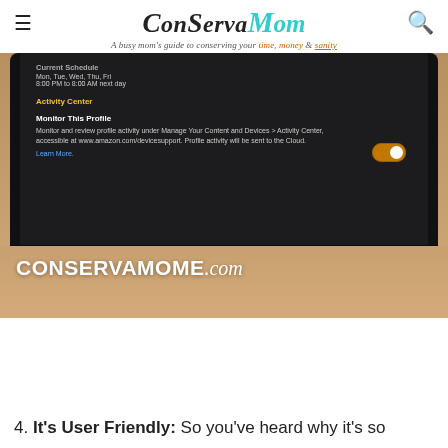ConservaMom - A busy mom's guide to conserving your time, money & sanity
[Figure (photo): A hand holding a dark Amazon Fire tablet showing the Activity Center / Monitor This Profile screen with a toggle switch enabled. A watermark reads CONSERVAMOME.com overlaid on the bottom of the image.]
4. It's User Friendly: So you've heard why it's so